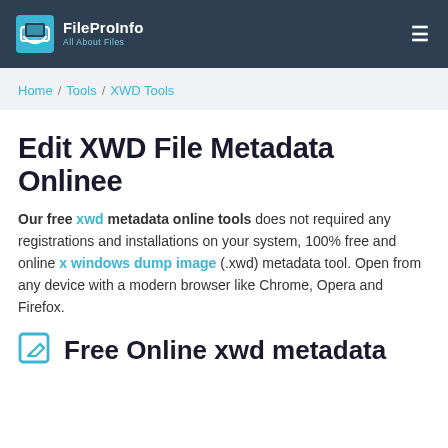FileProInfo — All About Files
Home / Tools / XWD Tools
Edit XWD File Metadata Onlinee
Our free xwd metadata online tools does not required any registrations and installations on your system, 100% free and online x windows dump image (.xwd) metadata tool. Open from any device with a modern browser like Chrome, Opera and Firefox.
Free Online xwd metadata